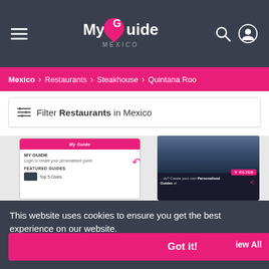My Guide MEXICO
Mexico > Restaurants > Steakhouse > Quintana Roo
Filter Restaurants in Mexico
[Figure (screenshot): Screenshot of My Guide Mexico website showing mobile and tablet views with MY GUIDE login panel, FEATURED GUIDES section with Top 5 Clubs, and a landscape photo on tablet]
This website uses cookies to ensure you get the best experience on our website.
Learn more
Got it!